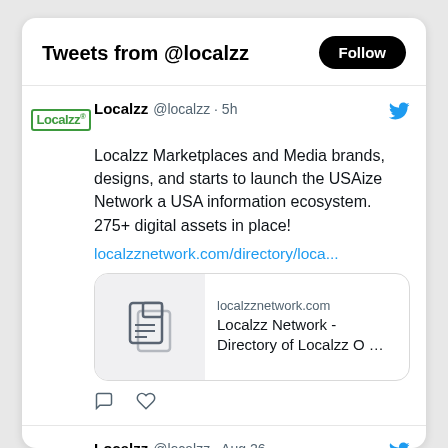Tweets from @localzz
Localzz @localzz · 5h
Localzz Marketplaces and Media brands, designs, and starts to launch the USAize Network a USA information ecosystem. 275+ digital assets in place!
localzznetwork.com/directory/loca...
[Figure (screenshot): Link card preview showing localzznetwork.com with document icon, title: Localzz Network - Directory of Localzz O ...]
Localzz @localzz · Aug 26